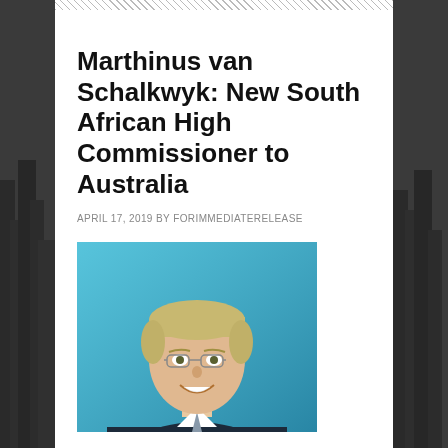Marthinus van Schalkwyk: New South African High Commissioner to Australia
APRIL 17, 2019 BY FORIMMEDIATERELEASE
[Figure (photo): Portrait photo of Marthinus van Schalkwyk, a middle-aged man with short blond/grey hair, glasses, wearing a dark suit, smiling, against a blue background.]